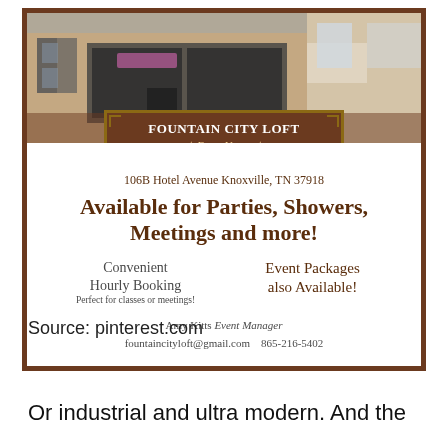[Figure (photo): Advertisement for Fountain City Loft Event Venue showing a storefront photo at top, with the venue name on a wooden sign, address, tagline about parties/showers/meetings, hourly booking info, event packages, and contact details.]
Source: pinterest.com
Or industrial and ultra modern. And the